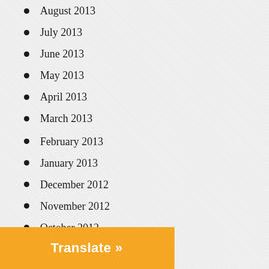August 2013
July 2013
June 2013
May 2013
April 2013
March 2013
February 2013
January 2013
December 2012
November 2012
October 2012
September 2012
August 2012
July 2012
June 2012
May 2012
April 2012
March 2012
February 2012
Translate »